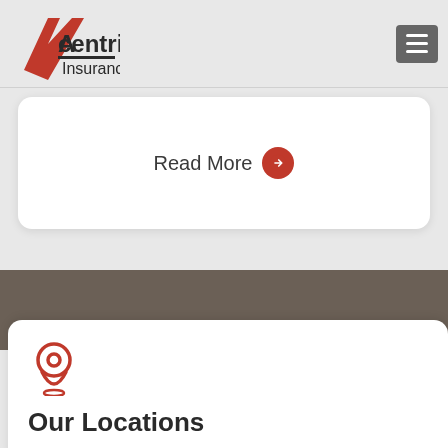[Figure (logo): Acentria Insurance logo with red chevron/arrow graphic on left and 'Acentria Insurance' text in dark gray]
[Figure (other): Dark gray hamburger menu button with three white horizontal lines]
Read More →
[Figure (other): Red map/location pin icon]
Our Locations